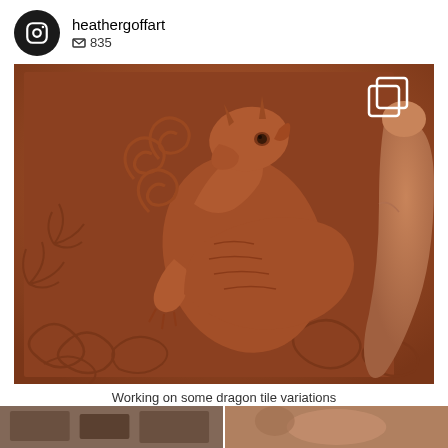heathergoffart  835
[Figure (photo): Close-up photo of a terracotta clay tile being held by a hand, showing a sculpted dragon with horns and a fierce expression surrounded by swirling clouds and leaf patterns, all in relief carving style.]
Working on some dragon tile variations
[Figure (photo): Two thumbnail images at the bottom of the screen showing additional posts from the same Instagram account.]